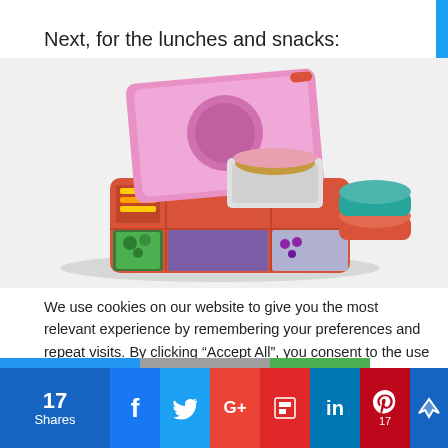Next, for the lunches and snacks:
[Figure (photo): Pink and red bento-style lunchbox open showing compartments with food including noodles in a thermos cup, broccoli, and berries. Also shown are colorful stackable round containers.]
We use cookies on our website to give you the most relevant experience by remembering your preferences and repeat visits. By clicking “Accept All”, you consent to the use of ALL the cookies. However, you may visit "Cookie Settings" to provide a controlled consent.
17 Shares | Facebook | Twitter | Google+ | Flipboard | LinkedIn | Pinterest 17 | More